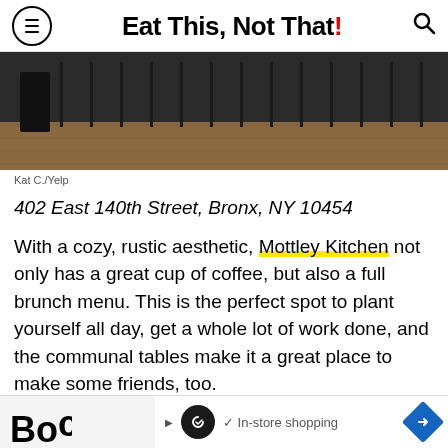Eat This, Not That!
[Figure (photo): Interior photo of Mottley Kitchen restaurant showing dark walls, wooden floors, and furniture]
Kat C./Yelp
402 East 140th Street, Bronx, NY 10454
With a cozy, rustic aesthetic, Mottley Kitchen not only has a great cup of coffee, but also a full brunch menu. This is the perfect spot to plant yourself all day, get a whole lot of work done, and the communal tables make it a great place to make some friends, too.